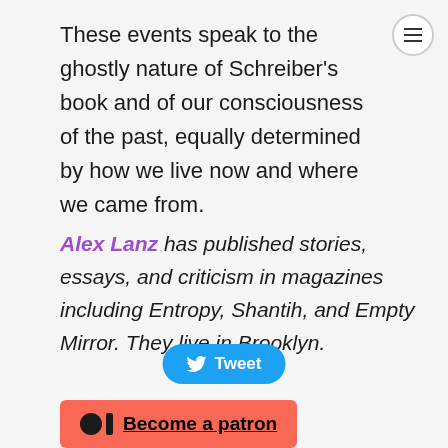These events speak to the ghostly nature of Schreiber's book and of our consciousness of the past, equally determined by how we live now and where we came from.
Alex Lanz has published stories, essays, and criticism in magazines including Entropy, Shantih, and Empty Mirror. They live in Brooklyn.
[Figure (other): Tweet button - blue rounded rectangle with Twitter bird icon and text 'Tweet']
[Figure (other): Patreon 'Become a patron' button - red/coral rounded rectangle with Patreon logo icon and underlined text 'Become a patron']